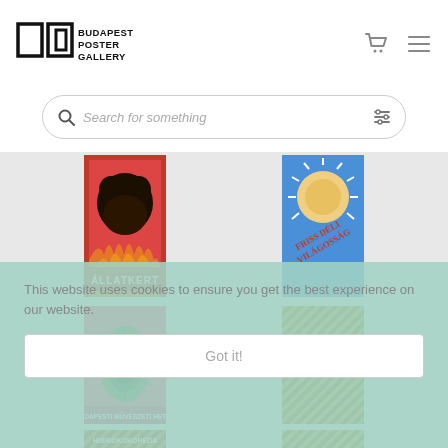[Figure (logo): Budapest Poster Gallery logo with two rectangular box shapes and text]
[Figure (screenshot): Search bar with magnifier icon and placeholder text 'Search for something' with filter icon]
[Figure (photo): Allatkert poster - black bear on red/orange background]
[Figure (photo): Friss deli vilagossag poster - blue background with sun]
[Figure (photo): Pink peacock feather poster - Budapest Muveszeti Hetek]
[Figure (photo): Striped corn/agricultural poster with italic text]
[Figure (photo): Bottom left poster partially visible]
[Figure (photo): Bottom right poster partially visible]
This website uses cookies to ensure you get the best experience on our website.
Got it!